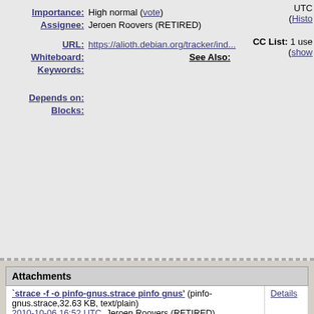Importance: High normal (vote)
Assignee: Jeroen Roovers (RETIRED)
UTC (Histo
CC List: 1 use (show
URL: https://alioth.debian.org/tracker/ind...
Whiteboard:
See Also:
Keywords:
Depends on:
Blocks:
| Attachments |  |
| --- | --- |
| `strace -f -o pinfo-gnus.strace pinfo gnus' (pinfo-gnus.strace,32.63 KB, text/plain)
2010-10-06 16:52 UTC, Jeroen Roovers (RETIRED) | Details |
| `strace -f -o pinfo-gnus.strace pinfo gnus-1' (pinfo-gnus-1.strace,57.41 KB, text/plain)
2010-10-06 17:17 UTC, Jeroen Roovers (RETIRED) | Details |
| gdb output (gdb.out,1.14 KB, text/plain)
2010-10-07 08:27 UTC, Ulrich Müller | Details |
| pinfo-0.6.9-info-suffix.patch (pinfo-0.6.9-info-suffix.patch,993 bytes, patch)
2010-10-12 15:10 UTC, Ulrich Müller | Details | Diff |